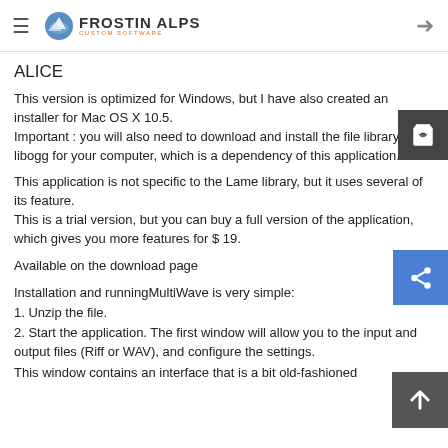FROSTIN ALPS — Custom Software
ALICE
This version is optimized for Windows, but I have also created an installer for Mac OS X 10.5.
Important : you will also need to download and install the file library libogg for your computer, which is a dependency of this application.
This application is not specific to the Lame library, but it uses several of its feature.
This is a trial version, but you can buy a full version of the application, which gives you more features for $ 19.
Available on the download page
Installation and runningMultiWave is very simple:
1. Unzip the file.
2. Start the application. The first window will allow you to the input and output files (Riff or WAV), and configure the settings.
This window contains an interface that is a bit old-fashioned